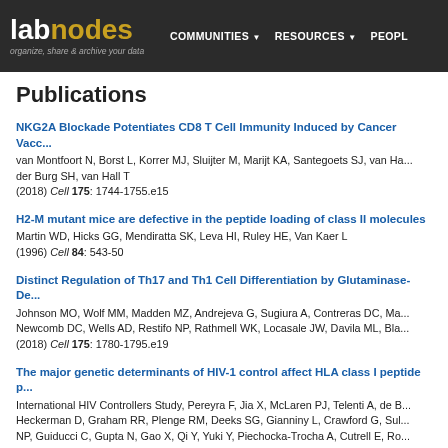labnodes — organize, share & archive your data — COMMUNITIES ▼ RESOURCES ▼ PEOPLE
Publications
NKG2A Blockade Potentiates CD8 T Cell Immunity Induced by Cancer Vacc...
van Montfoort N, Borst L, Korrer MJ, Sluijter M, Marijt KA, Santegoets SJ, van Ha... der Burg SH, van Hall T
(2018) Cell 175: 1744-1755.e15
H2-M mutant mice are defective in the peptide loading of class II molecules
Martin WD, Hicks GG, Mendiratta SK, Leva HI, Ruley HE, Van Kaer L
(1996) Cell 84: 543-50
Distinct Regulation of Th17 and Th1 Cell Differentiation by Glutaminase-De...
Johnson MO, Wolf MM, Madden MZ, Andrejeva G, Sugiura A, Contreras DC, Ma... Newcomb DC, Wells AD, Restifo NP, Rathmell WK, Locasale JW, Davila ML, Bla...
(2018) Cell 175: 1780-1795.e19
The major genetic determinants of HIV-1 control affect HLA class I peptide p...
International HIV Controllers Study, Pereyra F, Jia X, McLaren PJ, Telenti A, de B... Heckerman D, Graham RR, Plenge RM, Deeks SG, Gianniny L, Crawford G, Sul... NP, Guiducci C, Gupta N, Gao X, Qi Y, Yuki Y, Piechocka-Trocha A, Cutrell E, Ro... Rothchild A, Lian J, Proudfoot J, Alvino DM, Vine S, Addo MM, Allen TM, Altfeld M... RM, Shikuma CM, Haubrich R, Riddler S, Sax PE, Daar ES, Ribaudo HJ, Agan B... Anderson V, Andrady U, Antoniskis D, Bangsberg D, Barbaro D, Barrie W, Bartcz... Bernard AM, Birch S, Bodner SJ, Bolan RK, Boudreaux ET, Bradley M, Brown...